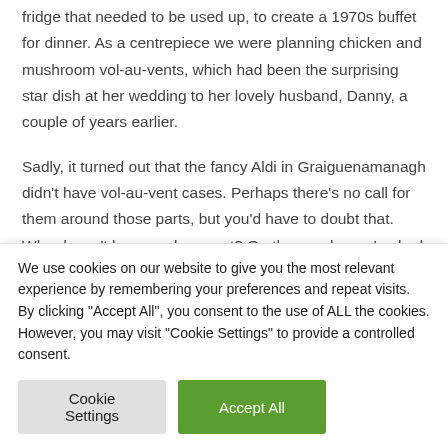fridge that needed to be used up, to create a 1970s buffet for dinner. As a centrepiece we were planning chicken and mushroom vol-au-vents, which had been the surprising star dish at her wedding to her lovely husband, Danny, a couple of years earlier.
Sadly, it turned out that the fancy Aldi in Graiguenamanagh didn't have vol-au-vent cases. Perhaps there's no call for them around those parts, but you'd have to doubt that. Who doesn't love a vol-au-vent? On the way home I asked Alex to stop at a filling station, not explaining why. I was on a secret mission to pay back my new friend by aggressively seeking vol-au-vents. In the garage shop I
We use cookies on our website to give you the most relevant experience by remembering your preferences and repeat visits. By clicking "Accept All", you consent to the use of ALL the cookies. However, you may visit "Cookie Settings" to provide a controlled consent.